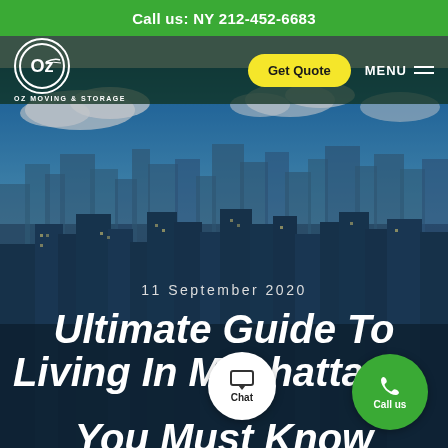Call us: NY 212-452-6683
[Figure (logo): Oz Moving & Storage logo — circular emblem with Oz text and a wing motif, white on dark background, with text OZ MOVING & STORAGE below]
Get Quote
MENU
[Figure (photo): Aerial photograph of Manhattan skyline with blue sky and clouds in the background]
11 September 2020
Ultimate Guide To Living In Manhattan: What You Must Know